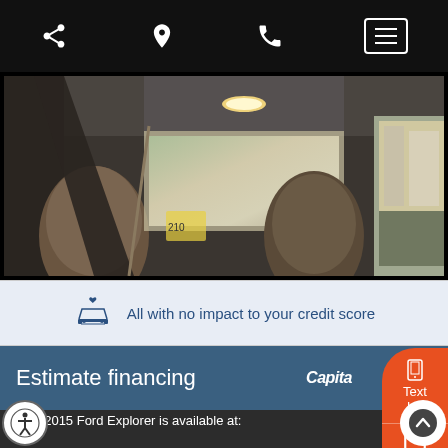Navigation bar with share, location, phone, and menu icons
[Figure (photo): Car interior photo showing back seats, headliner, and view through windows of street outside]
All with no impact to your credit score
Estimate financing  Capital One
This 2015 Ford Explorer is available at:
392 East Street
New Haven, CT  06511 | Get directions
(203) 624-2171